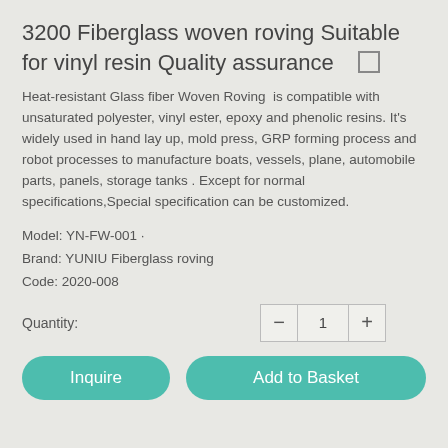3200 Fiberglass woven roving Suitable for vinyl resin Quality assurance  ☐
Heat-resistant Glass fiber Woven Roving  is compatible with unsaturated polyester, vinyl ester, epoxy and phenolic resins. It's widely used in hand lay up, mold press, GRP forming process and robot processes to manufacture boats, vessels, plane, automobile parts, panels, storage tanks . Except for normal specifications,Special specification can be customized.
Model: YN-FW-001 ·
Brand: YUNIU Fiberglass roving
Code: 2020-008
Quantity:  — 1 +
Inquire  Add to Basket